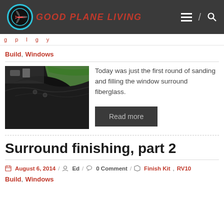GOOD PLANE LIVING
Build, Windows
[Figure (photo): Close-up photo of a dark fiberglass aircraft window surround being worked on, covered partially in green masking tape, in a workshop setting.]
Today was just the first round of sanding and filling the window surround fiberglass.
Read more
Surround finishing, part 2
August 6, 2014 / Ed / 0 Comment / Finish Kit, RV10
Build, Windows